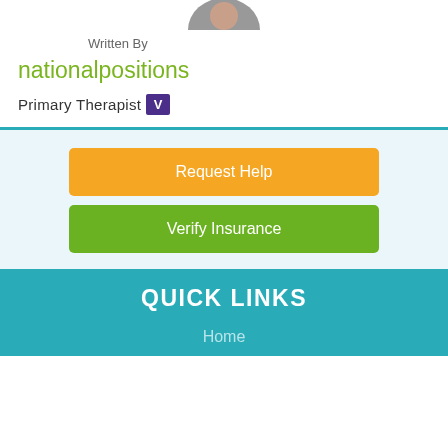[Figure (photo): Partial profile photo visible at top, cropped circle]
Written By
nationalpositions
Primary Therapist V
Request Help
Verify Insurance
QUICK LINKS
Home